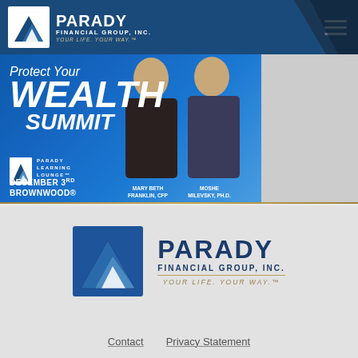[Figure (logo): Parady Financial Group, Inc. header logo with navigation - blue header bar with mountain logo icon, company name PARADY FINANCIAL GROUP INC., tagline YOUR LIFE. YOUR WAY., and hamburger menu icon]
[Figure (photo): Protect Your WEALTH SUMMIT banner advertisement with two people (Mary Beth Franklin CFP and Moshe Milevsky Ph.D.), Parady Learning Lounge logo, December 3rd Brownwood event details]
[Figure (logo): Parady Financial Group Inc. centered logo with mountain icon, company name in dark blue, FINANCIAL GROUP INC. subtitle with gold underline, YOUR LIFE. YOUR WAY. tagline]
Contact   Privacy Statement